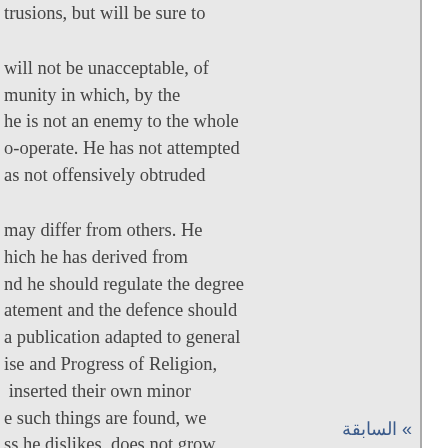trusions, but will be sure to

will not be unacceptable, of
nunity in which, by the
he is not an enemy to the whole
o-operate. He has not attempted
as not offensively obtruded

may differ from others. He
hich he has derived from
nd he should regulate the degree
atement and the defence should
a publication adapted to general
ise and Progress of Religion,
inserted their own minor
e such things are found, we
ss he dislikes, does not grow
it, and feeds on in the large and
of many are powerful, and
no means essential to its design-
otherwise have afforded them
» السابقة